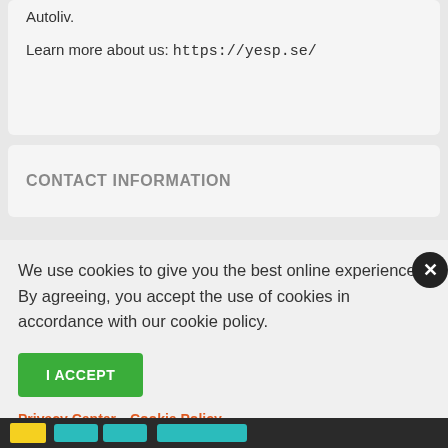Autoliv.
Learn more about us: https://yesp.se/
CONTACT INFORMATION
We use cookies to give you the best online experience. By agreeing, you accept the use of cookies in accordance with our cookie policy.
I ACCEPT
Privacy Center  Cookie Policy